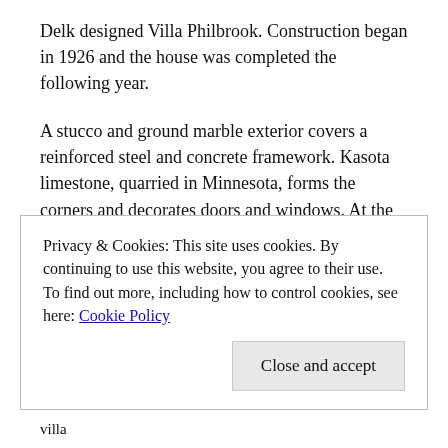Delk designed Villa Philbrook. Construction began in 1926 and the house was completed the following year.
A stucco and ground marble exterior covers a reinforced steel and concrete framework. Kasota limestone, quarried in Minnesota, forms the corners and decorates doors and windows. At the rear of the house a spacious loggia with Corinthian columns overlooks the spectacular gardens.
The original villa featured 72 interior rooms, decorated with travertine and marble fireplaces and fountains, teak,
Privacy & Cookies: This site uses cookies. By continuing to use this website, you agree to their use.
To find out more, including how to control cookies, see here: Cookie Policy
Close and accept